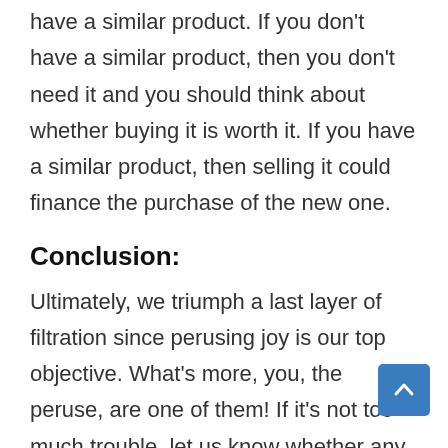have a similar product. If you don't have a similar product, then you don't need it and you should think about whether buying it is worth it. If you have a similar product, then selling it could finance the purchase of the new one.
Conclusion:
Ultimately, we triumph a last layer of filtration since perusing joy is our top objective. What's more, you, the peruse, are one of them! If it's not too much trouble, let us know whether any of the